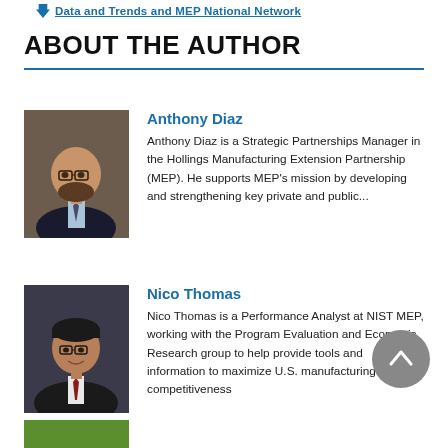Data and Trends and MEP National Network
ABOUT THE AUTHOR
[Figure (photo): Headshot of Anthony Diaz, a bald man with glasses and a beard, wearing a suit and tie]
Anthony Diaz
Anthony Diaz is a Strategic Partnerships Manager in the Hollings Manufacturing Extension Partnership (MEP). He supports MEP's mission by developing and strengthening key private and public...
[Figure (photo): Headshot of Nico Thomas, a young man with glasses and a slight smile, wearing a suit with a red tie]
Nico Thomas
Nico Thomas is a Performance Analyst at NIST MEP, working with the Program Evaluation and Economic Research group to help provide tools and information to maximize U.S. manufacturing competitiveness